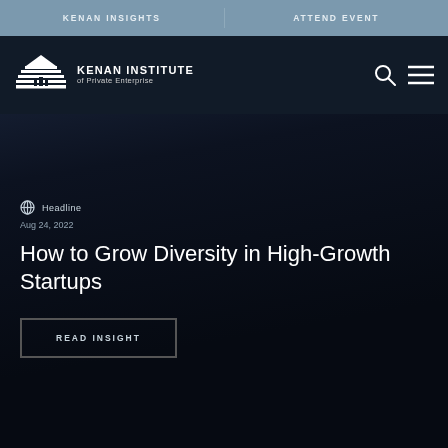KENAN INSIGHTS    ATTEND EVENT
[Figure (logo): Kenan Institute of Private Enterprise logo — mountain/building silhouette graphic with text 'KENAN INSTITUTE of Private Enterprise']
⊕  Headline
Aug 24, 2022
How to Grow Diversity in High-Growth Startups
READ INSIGHT